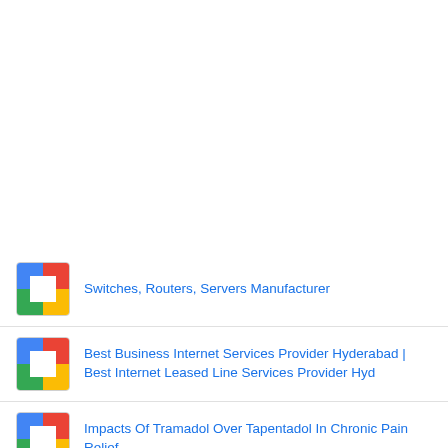Switches, Routers, Servers Manufacturer
Best Business Internet Services Provider Hyderabad | Best Internet Leased Line Services Provider Hyd
Impacts Of Tramadol Over Tapentadol In Chronic Pain Relief